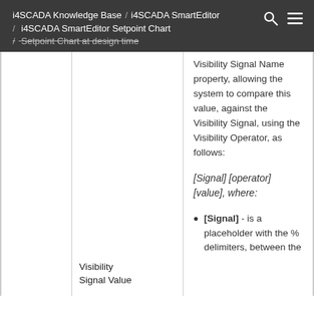i4SCADA Knowledge Base / i4SCADA SmartEditor / i4SCADA SmartEditor Setpoint Chart / Setpoint Chart at design time
|  |  |  |
| --- | --- | --- |
|  |  | Visibility Signal Name property, allowing the system to compare this value, against the Visibility Signal, using the Visibility Operator, as follows:

[Signal] [operator] [value], where: |
|  | Visibility Signal Value | [Signal] - is a placeholder with the % delimiters, between the |